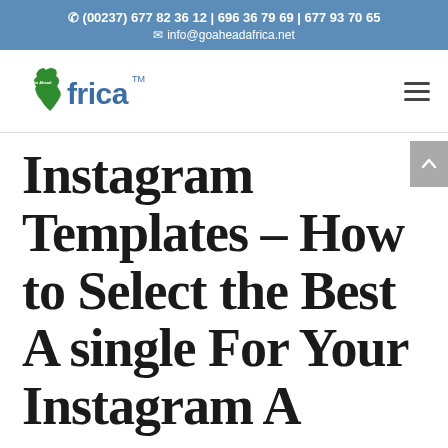☎ (00237) 677 82 36 12 | 696 36 79 69 | 677 93 70 65 ✉ info@goaheadafrica.net
[Figure (logo): Go Ahead Africa logo with green Africa map shape and blue 'frica' text with TM mark]
Instagram Templates – How to Select the Best A single For Your Instagram Account